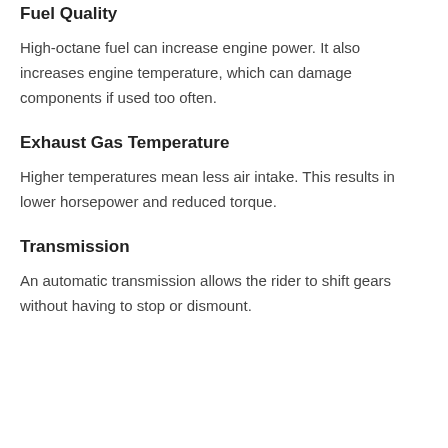Fuel Quality
High-octane fuel can increase engine power. It also increases engine temperature, which can damage components if used too often.
Exhaust Gas Temperature
Higher temperatures mean less air intake. This results in lower horsepower and reduced torque.
Transmission
An automatic transmission allows the rider to shift gears without having to stop or dismount.